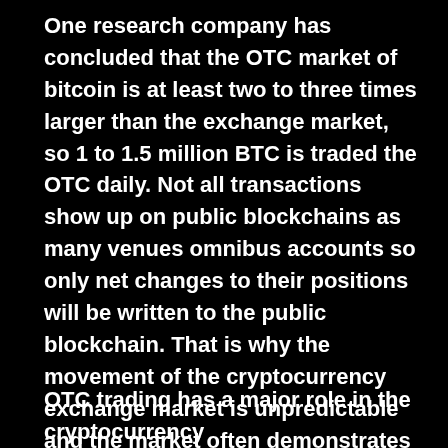One research company has concluded that the OTC market of bitcoin is at least two to three times larger than the exchange market, so 1 to 1.5 million BTC is traded the OTC daily. Not all transactions show up on public blockchains as many venues omnibus accounts so only net changes to their positions will be written to the public blockchain. That is why the movement of the cryptocurrency exchange market is unpredictable and the market often demonstrates an extreme rate of volatility. If the bitcoin exchange market only accounts for 25 percent of the actual volume of the dominant cryptocurrency, it is that much more difficult to find the cause of the movements of BTC and other cryptocurrencies which also follow the movement of bitcoin.
OTC trading has a major role in the cryptocurrency